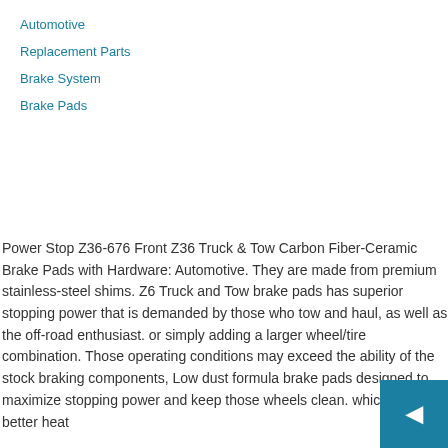Automotive
Replacement Parts
Brake System
Brake Pads
Power Stop Z36-676 Front Z36 Truck & Tow Carbon Fiber-Ceramic Brake Pads with Hardware: Automotive. They are made from premium stainless-steel shims. Z6 Truck and Tow brake pads has superior stopping power that is demanded by those who tow and haul, as well as the off-road enthusiast. or simply adding a larger wheel/tire combination. Those operating conditions may exceed the ability of the stock braking components, Low dust formula brake pads designed to maximize stopping power and keep those wheels clean. which provide better heat